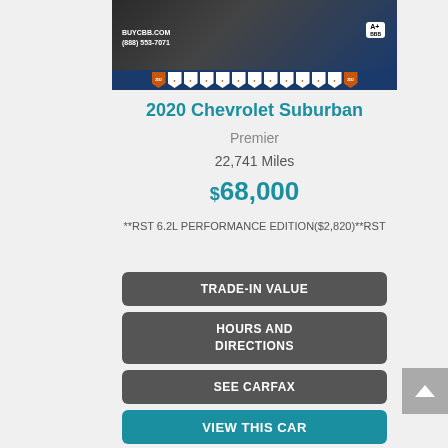[Figure (photo): Dealer banner with vehicle image, BUYCBB.COM text, phone number (888) 553-7071, A+ BBB rating badge, and row of dealer-of-the-year shield badges]
2020 Chevrolet Suburban
Premier
22,741 Miles
$68,000
**RST 6.2L PERFORMANCE EDITION($2,820)**RST
TRADE-IN VALUE
HOURS AND DIRECTIONS
SEE CARFAX
VIEW THIS CAR